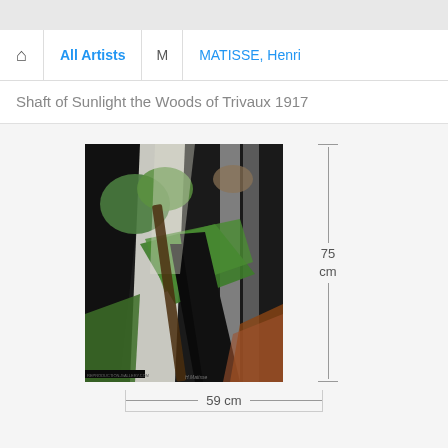All Artists  M  MATISSE, Henri
Shaft of Sunlight the Woods of Trivaux 1917
[Figure (photo): Painting by Henri Matisse titled 'Shaft of Sunlight the Woods of Trivaux' (1917). Abstract forest scene with bold black diagonal shapes, green foliage, white and gray tree trunks, and a reddish-brown area at lower right.]
75 cm
59 cm